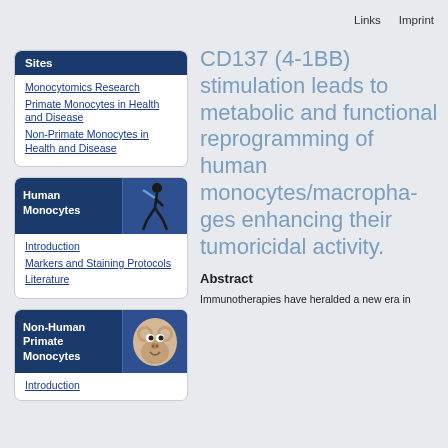Links   Imprint
Sites
Monocytomics Research
Primate Monocytes in Health and Disease
Non-Primate Monocytes in Health and Disease
Human Monocytes
Introduction
Markers and Staining Protocols
Literature
Non-Human Primate Monocytes
Introduction
CD137 (4-1BB) stimulation leads to metabolic and functional reprogramming of human monocytes/macrophages enhancing their tumoricidal activity.
Abstract
Immunotherapies have heralded a new era in